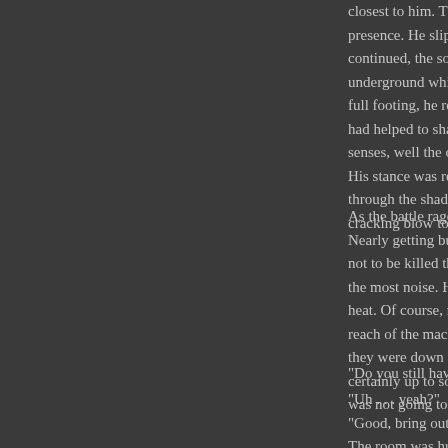closest to him. There was one presence. He slipped down a b continued, the sound of the ba underground which was wher full footing, he reached the bo had helped to shake the heavy senses, well the only obstacle His stance was ready to go to through the shadows and slow cracking blow to the back to b
As the battle raged out side, D Nearly getting burnt to death not to be killed that easily. Aft the most noise. He had come heat. Of course, metal being th reach of the machines heat bla they were down there, Drakiu certainly up to something, Dr was not going to be pleasant.
"Do you still have the stolen w
"Uh . . . yeah?"
"Good, bring out the plasma g
The room was huge. If it w